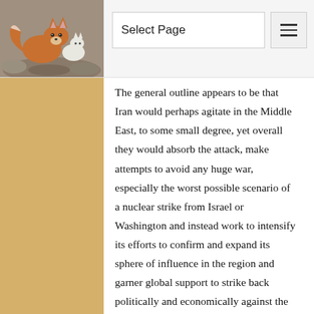[Figure (photo): Animal photo (fox or similar creature) in the top-left header area]
Select Page
The general outline appears to be that Iran would perhaps agitate in the Middle East, to some small degree, yet overall they would absorb the attack, make attempts to avoid any huge war, especially the worst possible scenario of a nuclear strike from Israel or Washington and instead work to intensify its efforts to confirm and expand its sphere of influence in the region and garner global support to strike back politically and economically against the grave injustice and illegality of a US led attack. This would not be another Iraq or Libya, for the US would wish to avoid the huge losses of life and machine which would certainly happen if they were to launch an attempt to invade the country.
Still, it is a worry.